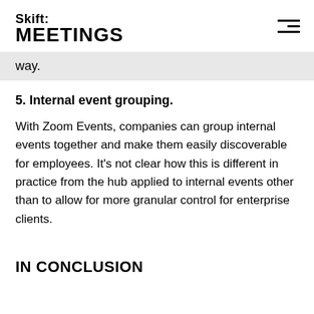Skift MEETINGS
way.
5. Internal event grouping.
With Zoom Events, companies can group internal events together and make them easily discoverable for employees. It’s not clear how this is different in practice from the hub applied to internal events other than to allow for more granular control for enterprise clients.
IN CONCLUSION